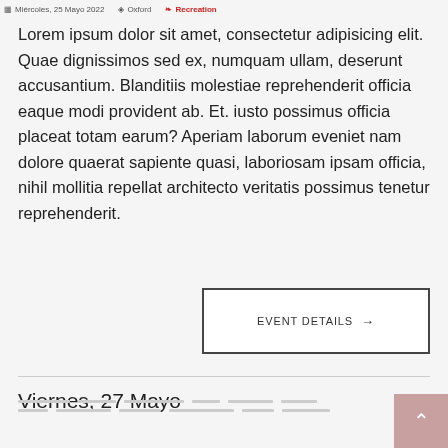Miércoles, 25 Mayo 2022  Oxford  Recreation
Lorem ipsum dolor sit amet, consectetur adipisicing elit. Quae dignissimos sed ex, numquam ullam, deserunt accusantium. Blanditiis molestiae reprehenderit officia eaque modi provident ab. Et. iusto possimus officia placeat totam earum? Aperiam laborum eveniet nam dolore quaerat sapiente quasi, laboriosam ipsam officia, nihil mollitia repellat architecto veritatis possimus tenetur reprehenderit.
EVENT DETAILS →
Viernes, 27 Mayo